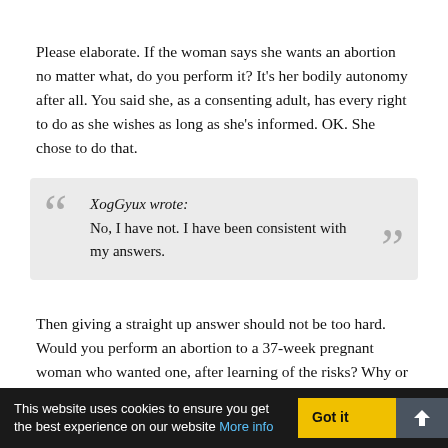Please elaborate. If the woman says she wants an abortion no matter what, do you perform it? It's her bodily autonomy after all. You said she, as a consenting adult, has every right to do as she wishes as long as she's informed. OK. She chose to do that.
XogGyux wrote:
No, I have not. I have been consistent with my answers.
Then giving a straight up answer should not be too hard. Would you perform an abortion to a 37-week pregnant woman who wanted one, after learning of the risks? Why or why not?
XogGyux wrote:
This website uses cookies to ensure you get the best experience on our website More info